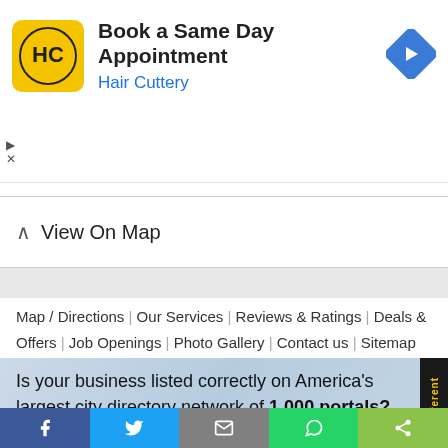[Figure (screenshot): Hair Cuttery ad banner with yellow logo, bold title 'Book a Same Day Appointment', subtitle 'Hair Cuttery' in blue, and blue navigation arrow icon on right]
View On Map
Map / Directions | Our Services | Reviews & Ratings | Deals & Offers | Job Openings | Photo Gallery | Contact us | Sitemap
Is your business listed correctly on America's largest city directory network of 1,000 portals?
Find your City Portal
CLAIM YOUR LISTING NOW
We are different